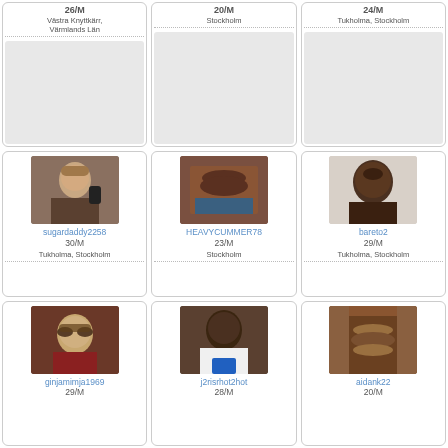[Figure (photo): Profile card top-left partial: 26/M, Västra Knyttkärr, Värmlands Län]
[Figure (photo): Profile card top-center partial: 20/M, Stockholm]
[Figure (photo): Profile card top-right partial: 24/M, Tukholma, Stockholm]
[Figure (photo): Profile card middle-left: sugardaddy2258, 30/M, Tukholma, Stockholm — man on phone]
[Figure (photo): Profile card middle-center: HEAVYCUMMER78, 23/M, Stockholm — torso photo]
[Figure (photo): Profile card middle-right: bareto2, 29/M, Tukholma, Stockholm — man looking up]
[Figure (photo): Profile card bottom-left: ginjamimja1969, 29/M — person with sunglasses]
[Figure (photo): Profile card bottom-center: j2risrhot2hot, 28/M, Tukholma, Stockholm — man in white shirt]
[Figure (photo): Profile card bottom-right: aidank22, 20/M — torso photo]